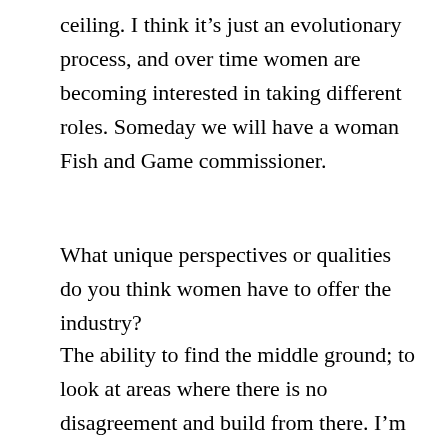ceiling. I think it's just an evolutionary process, and over time women are becoming interested in taking different roles. Someday we will have a woman Fish and Game commissioner.
What unique perspectives or qualities do you think women have to offer the industry?
The ability to find the middle ground; to look at areas where there is no disagreement and build from there. I'm not so sure it's a female thing, but it's parenting skills. Looking for those win-win